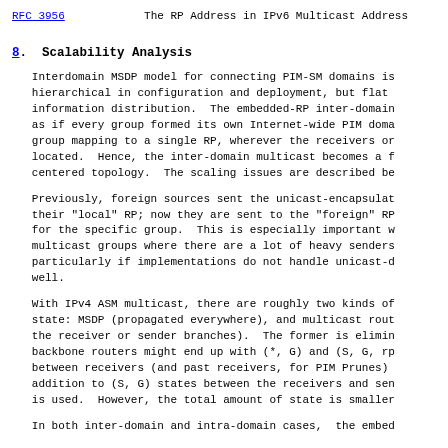RFC 3956    The RP Address in IPv6 Multicast Address
8.  Scalability Analysis
Interdomain MSDP model for connecting PIM-SM domains is hierarchical in configuration and deployment, but flat information distribution.  The embedded-RP inter-domain as if every group formed its own Internet-wide PIM doma group mapping to a single RP, wherever the receivers or located.  Hence, the inter-domain multicast becomes a f centered topology.  The scaling issues are described be
Previously, foreign sources sent the unicast-encapsulat their "local" RP; now they are sent to the "foreign" RP for the specific group.  This is especially important w multicast groups where there are a lot of heavy senders particularly if implementations do not handle unicast-d well.
With IPv4 ASM multicast, there are roughly two kinds of state: MSDP (propagated everywhere), and multicast rout the receiver or sender branches).  The former is elimin backbone routers might end up with (*, G) and (S, G, rp between receivers (and past receivers, for PIM Prunes) addition to (S, G) states between the receivers and sen is used.  However, the total amount of state is smaller
In both inter-domain and intra-domain cases, the embed